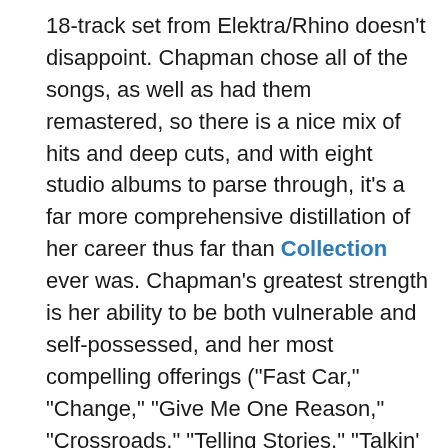18-track set from Elektra/Rhino doesn't disappoint. Chapman chose all of the songs, as well as had them remastered, so there is a nice mix of hits and deep cuts, and with eight studio albums to parse through, it's a far more comprehensive distillation of her career thus far than Collection ever was. Chapman's greatest strength is her ability to be both vulnerable and self-possessed, and her most compelling offerings ("Fast Car," "Change," "Give Me One Reason," "Crossroads," "Telling Stories," "Talkin' 'Bout a Revolution") are as relatable as they are powerful; beacons of hope and tough love in the midst of oppression and self-doubt. Nowhere does that fire for both compassion and social justice burn brighter than on an emotionally pitch-perfect, spotlight-stealing rendition of "Stand by Me," which she performed live on The Late Show with David Letterman in the waning days of the program's final season. With just her voice and an electric guitar, she managed to simultaneously bring the house down and build it back up again, which is no small feat, even for an artist who has